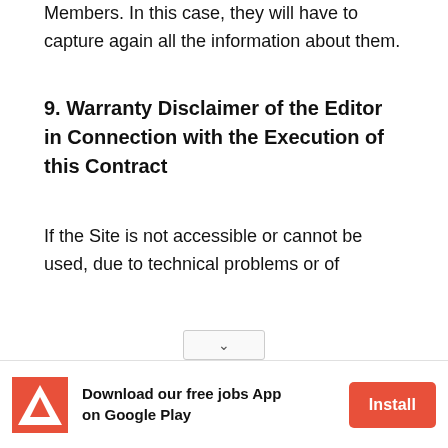Members. In this case, they will have to capture again all the information about them.
9. Warranty Disclaimer of the Editor in Connection with the Execution of this Contract
If the Site is not accessible or cannot be used, due to technical problems or of
[Figure (other): Scroll/expand chevron button at bottom of content area]
[Figure (logo): Adobe/App logo - red triangle A on white background]
Download our free jobs App on Google Play
Install